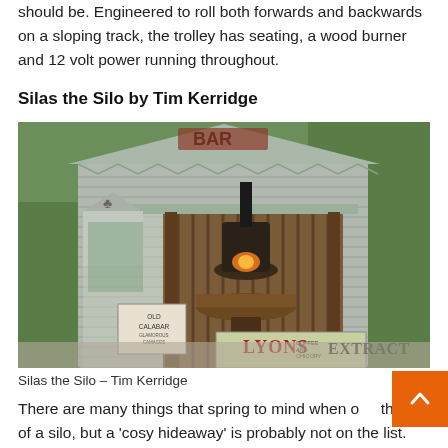should be. Engineered to roll both forwards and backwards on a sloping track, the trolley has seating, a wood burner and 12 volt power running throughout.
Silas the Silo by Tim Kerridge
[Figure (photo): Photo of Silas the Silo, a converted grain silo bar/shelter by Tim Kerridge. It features corrugated metal walls, a metal roof with decorative edging, wooden interior with vertical wooden slats, a central wood-burning stove with fire visible, a wooden circular bar surface, vintage signage including 'Old Calabar' and a 'Lyons Coffee and Chicory Extract' enamel sign, set in a garden with green hedging visible in the background.]
Silas the Silo – Tim Kerridge
There are many things that spring to mind when one thinks of a silo, but a 'cosy hideaway' is probably not on the list. Well, prepare to be amazed. Tim Kerridge